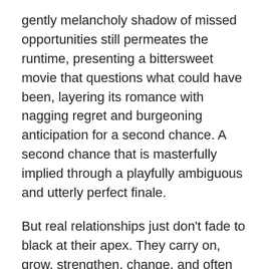gently melancholy shadow of missed opportunities still permeates the runtime, presenting a bittersweet movie that questions what could have been, layering its romance with nagging regret and burgeoning anticipation for a second chance. A second chance that is masterfully implied through a playfully ambiguous and utterly perfect finale.
But real relationships just don't fade to black at their apex. They carry on, grow, strengthen, change, and often strain if not tended to. Eschewing the more idealized romanticism of its predecessors, 'Before Midnight' tackles the sobering challenges of maintaining a domestic partnership after the honeymoon phase has ended. And though the film is still home to several loving sequences, the brunt of